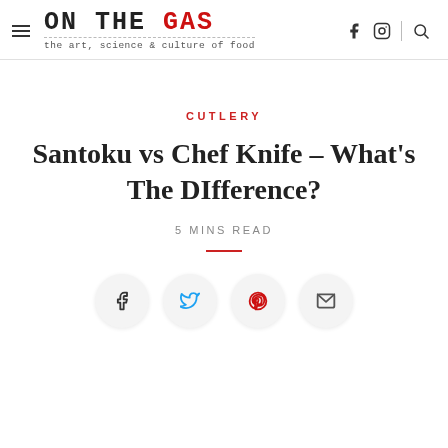ON THE GAS — the art, science & culture of food
CUTLERY
Santoku vs Chef Knife – What's The DIfference?
5 MINS READ